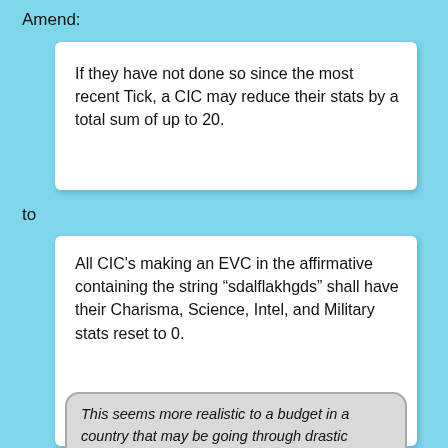Amend:
If they have not done so since the most recent Tick, a CIC may reduce their stats by a total sum of up to 20.
to
All CIC's making an EVC in the affirmative containing the string “sdalflakhgds” shall have their Charisma, Science, Intel, and Military stats reset to 0.
This seems more realistic to a budget in a country that may be going through drastic political change.